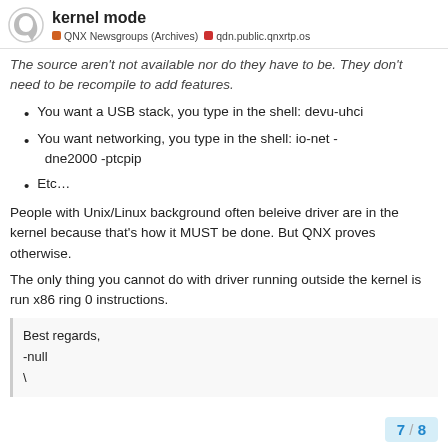kernel mode | QNX Newsgroups (Archives) | qdn.public.qnxrtp.os
The source aren't not available nor do they have to be. They don't need to be recompile to add features.
You want a USB stack, you type in the shell: devu-uhci
You want networking, you type in the shell: io-net -dne2000 -ptcpip
Etc…
People with Unix/Linux background often beleive driver are in the kernel because that's how it MUST be done. But QNX proves otherwise.
The only thing you cannot do with driver running outside the kernel is run x86 ring 0 instructions.
Best regards,
-null
\
7 / 8